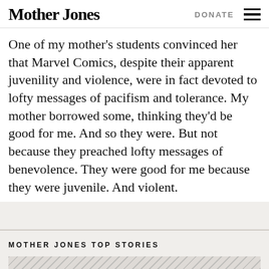Mother Jones | DONATE
One of my mother's students convinced her that Marvel Comics, despite their apparent juvenility and violence, were in fact devoted to lofty messages of pacifism and tolerance. My mother borrowed some, thinking they'd be good for me. And so they were. But not because they preached lofty messages of benevolence. They were good for me because they were juvenile. And violent.
MOTHER JONES TOP STORIES
[Figure (photo): Partially visible image with diagonal stripe pattern background and large bold text partially cut off at bottom]